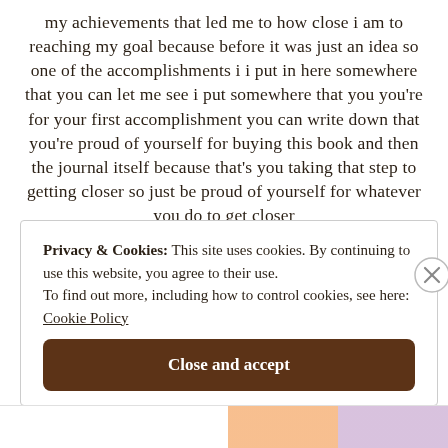my achievements that led me to how close i am to reaching my goal because before it was just an idea so one of the accomplishments i i put in here somewhere that you can let me see i put somewhere that you you're for your first accomplishment you can write down that you're proud of yourself for buying this book and then the journal itself because that's you taking that step to getting closer so just be proud of yourself for whatever you do to get closer
Privacy & Cookies: This site uses cookies. By continuing to use this website, you agree to their use. To find out more, including how to control cookies, see here: Cookie Policy
Close and accept